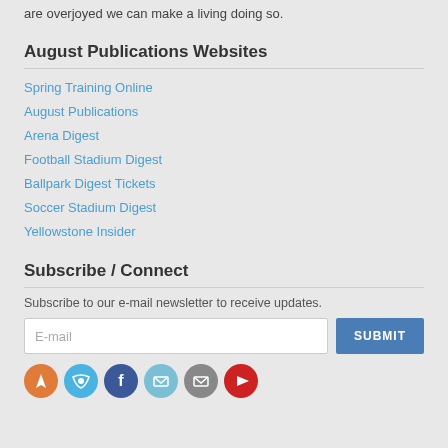are overjoyed we can make a living doing so.
August Publications Websites
Spring Training Online
August Publications
Arena Digest
Football Stadium Digest
Ballpark Digest Tickets
Soccer Stadium Digest
Yellowstone Insider
Subscribe / Connect
Subscribe to our e-mail newsletter to receive updates.
E-mail
SUBMIT